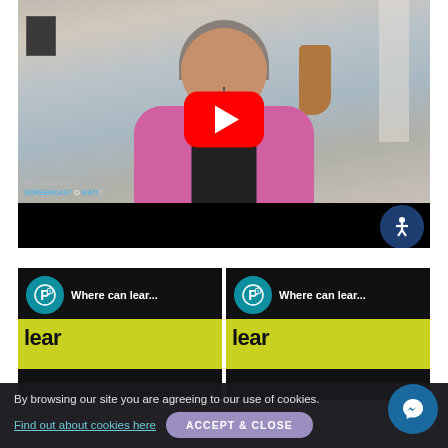[Figure (screenshot): YouTube video player showing a woman with brown-gray hair wearing a pink cardigan and black top, smiling. A red YouTube play button overlay is centered on the video. A Screencast-O-Matic watermark is in the bottom left. A black control bar with an accessibility icon (person in circle) is at the bottom right.]
[Figure (screenshot): Two side-by-side YouTube video thumbnails. Each shows a teal Pearson 'P' logo circle followed by the text 'Where can lear...' on a black background, with a yellow/lime bar below showing partial text.]
By browsing our site you are agreeing to our use of cookies.
Find out about cookies here
ACCEPT & CLOSE